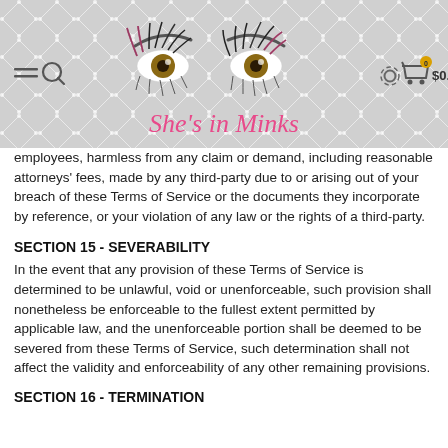[Figure (logo): She's in Minks website header banner with quilted background, eyes logo, brand name in pink cursive script, navigation icons (hamburger menu, search), settings gear icon, and shopping cart showing $0.00]
employees, harmless from any claim or demand, including reasonable attorneys' fees, made by any third-party due to or arising out of your breach of these Terms of Service or the documents they incorporate by reference, or your violation of any law or the rights of a third-party.
SECTION 15 - SEVERABILITY
In the event that any provision of these Terms of Service is determined to be unlawful, void or unenforceable, such provision shall nonetheless be enforceable to the fullest extent permitted by applicable law, and the unenforceable portion shall be deemed to be severed from these Terms of Service, such determination shall not affect the validity and enforceability of any other remaining provisions.
SECTION 16 - TERMINATION